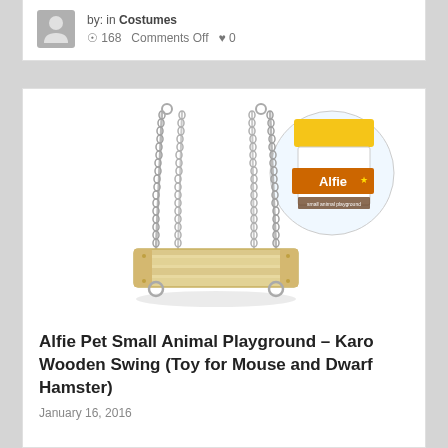by: in Costumes  168  Comments Off  0
[Figure (photo): Product photo of Alfie Pet Small Animal Playground - Karo Wooden Swing, a wooden platform swing suspended by metal chains, with Alfie Pet brand packaging inset in upper right corner]
Alfie Pet Small Animal Playground – Karo Wooden Swing (Toy for Mouse and Dwarf Hamster)
January 16, 2016